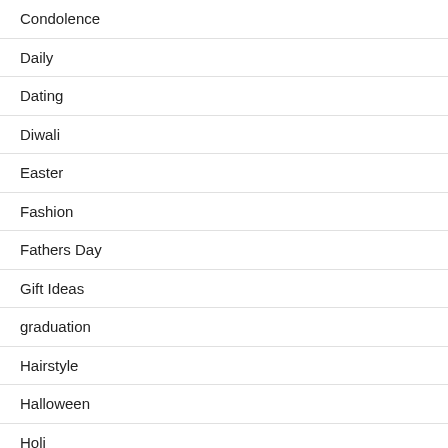Condolence
Daily
Dating
Diwali
Easter
Fashion
Fathers Day
Gift Ideas
graduation
Hairstyle
Halloween
Holi
Holiday
Home